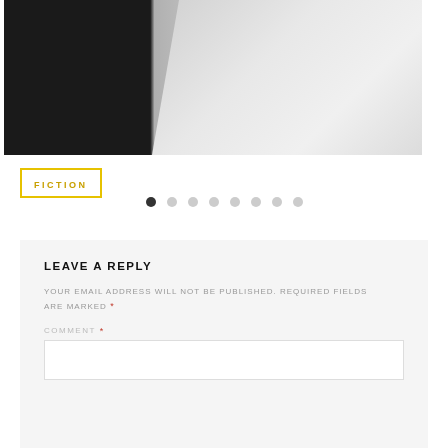[Figure (photo): Black and white photo showing a dark left half and a light right half, appearing to show clothing or fabric with a fold/collar detail]
FICTION
[Figure (infographic): Pagination dots: 8 dots in a row, first dot filled/dark, remaining 7 dots are light grey]
LEAVE A REPLY
YOUR EMAIL ADDRESS WILL NOT BE PUBLISHED. REQUIRED FIELDS ARE MARKED *
COMMENT *